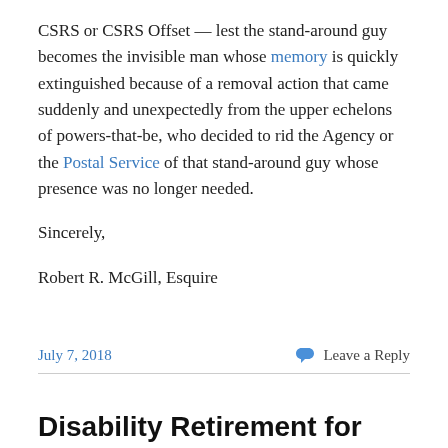CSRS or CSRS Offset — lest the stand-around guy becomes the invisible man whose memory is quickly extinguished because of a removal action that came suddenly and unexpectedly from the upper echelons of powers-that-be, who decided to rid the Agency or the Postal Service of that stand-around guy whose presence was no longer needed.
Sincerely,
Robert R. McGill, Esquire
July 7, 2018
Leave a Reply
Disability Retirement for